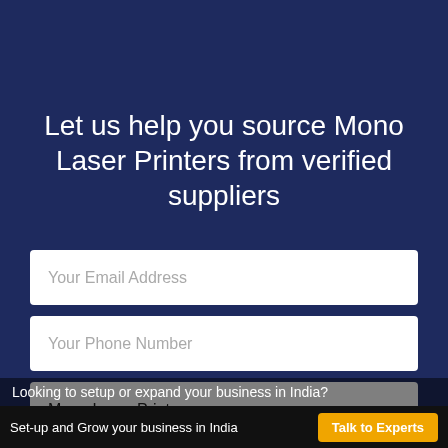Let us help you source Mono Laser Printers from verified suppliers
Your Email Address
Your Phone Number
Mono Laser Printers
Looking to setup or expand your business in India?
Set-up and Grow your business in India   Talk to Experts